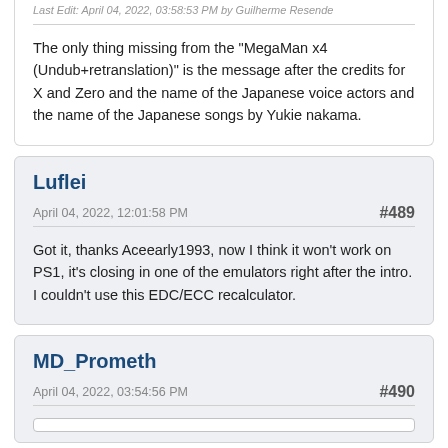Last Edit: April 04, 2022, 03:58:53 PM by Guilherme Resende
The only thing missing from the "MegaMan x4 (Undub+retranslation)" is the message after the credits for X and Zero and the name of the Japanese voice actors and the name of the Japanese songs by Yukie nakama.
Luflei
April 04, 2022, 12:01:58 PM
#489
Got it, thanks Aceearly1993, now I think it won't work on PS1, it's closing in one of the emulators right after the intro. I couldn't use this EDC/ECC recalculator.
MD_Prometh
April 04, 2022, 03:54:56 PM
#490